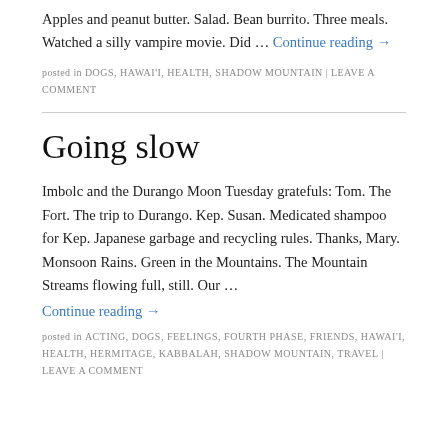Apples and peanut butter. Salad. Bean burrito. Three meals. Watched a silly vampire movie. Did … Continue reading →
posted in DOGS, HAWAI'I, HEALTH, SHADOW MOUNTAIN | LEAVE A COMMENT
Going slow
Imbolc and the Durango Moon Tuesday gratefuls: Tom. The Fort. The trip to Durango. Kep. Susan. Medicated shampoo for Kep. Japanese garbage and recycling rules. Thanks, Mary. Monsoon Rains. Green in the Mountains. The Mountain Streams flowing full, still. Our … Continue reading →
posted in ACTING, DOGS, FEELINGS, FOURTH PHASE, FRIENDS, HAWAI'I, HEALTH, HERMITAGE, KABBALAH, SHADOW MOUNTAIN, TRAVEL | LEAVE A COMMENT